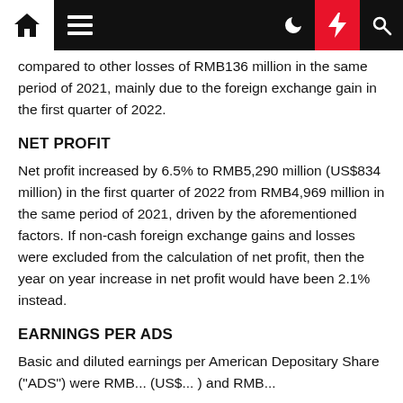Navigation bar with home, menu, dark mode, flash, and search icons
compared to other losses of RMB136 million in the same period of 2021, mainly due to the foreign exchange gain in the first quarter of 2022.
NET PROFIT
Net profit increased by 6.5% to RMB5,290 million (US$834 million) in the first quarter of 2022 from RMB4,969 million in the same period of 2021, driven by the aforementioned factors. If non-cash foreign exchange gains and losses were excluded from the calculation of net profit, then the year on year increase in net profit would have been 2.1% instead.
EARNINGS PER ADS
Basic and diluted earnings per American Depositary Share ("ADS") were RMB... (US$... ) and RMB...